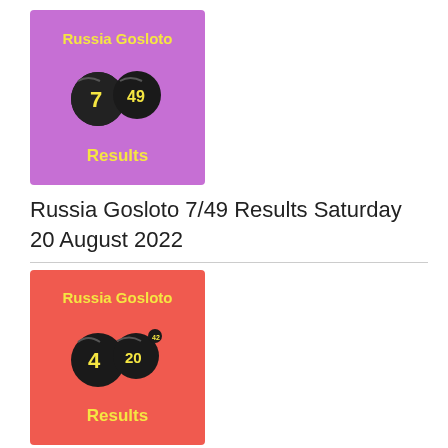[Figure (logo): Russia Gosloto 7/49 Results logo on purple background with two lottery balls showing numbers 7 and 49]
Russia Gosloto 7/49 Results Saturday 20 August 2022
[Figure (logo): Russia Gosloto 4/20 Results logo on red background with two lottery balls showing numbers 4 and 20]